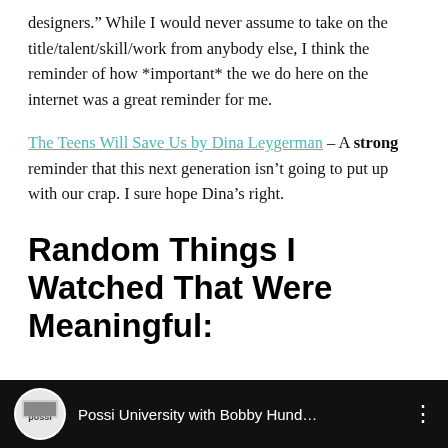designers.” While I would never assume to take on the title/talent/skill/work from anybody else, I think the reminder of how *important* the we do here on the internet was a great reminder for me.
The Teens Will Save Us by Dina Leygerman – A strong reminder that this next generation isn’t going to put up with our crap. I sure hope Dina’s right.
Random Things I Watched That Were Meaningful:
[Figure (screenshot): Video thumbnail showing Possi University with Bobby Hund... with a circular logo icon on dark/black background]